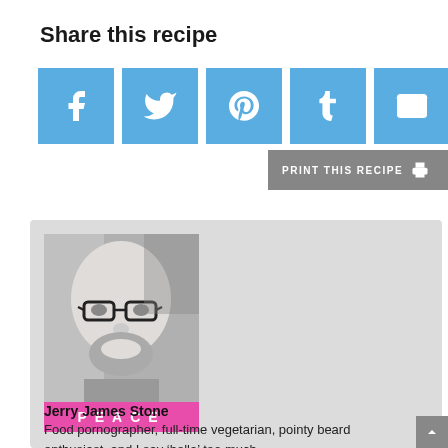Share this recipe
[Figure (infographic): Row of five social media share buttons (Facebook, Twitter, Pinterest, Tumblr, Email) in sky-blue square icons, followed by a gray 'PRINT THIS RECIPE' button with printer icon]
[Figure (photo): Author card with black-and-white headshot of Jerry James Stone (bald man with glasses and beard), pink PEACE banner below photo, author name and bio text]
Jerry James Stone
Food pornographer, full-time vegetarian, pointy beard enthusiast, and I say ‘hella’ too much.